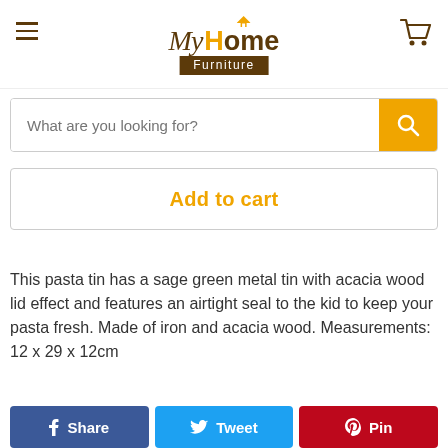[Figure (logo): MyHome Furniture logo with house icon, italic script 'My', bold 'Home' in orange and brown, 'Furniture' in white on dark brown background]
[Figure (screenshot): Search bar with placeholder text 'What are you looking for?' and orange search button with magnifying glass icon]
Add to cart
This pasta tin has a sage green metal tin with acacia wood lid effect and features an airtight seal to the kid to keep your pasta fresh. Made of iron and acacia wood. Measurements: 12 x 29 x 12cm
[Figure (infographic): Three social sharing buttons: blue Facebook Share, light blue Twitter Tweet, red Pinterest Pin]